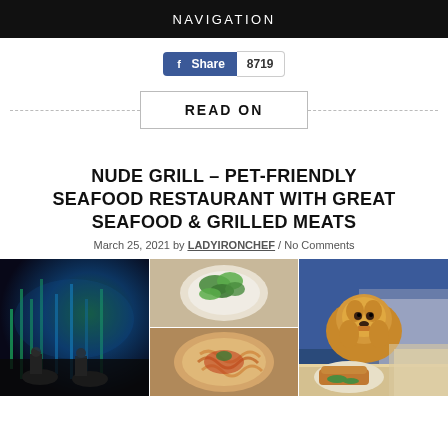NAVIGATION
Share 8719
READ ON
NUDE GRILL – PET-FRIENDLY SEAFOOD RESTAURANT WITH GREAT SEAFOOD & GRILLED MEATS
March 25, 2021 by LADYIRONCHEF / No Comments
[Figure (photo): Three photos side by side: left shows restaurant interior with blue and green lighting and diners, center shows food dishes including pasta and a salad plate, right shows a person holding a golden retriever dog and food.]